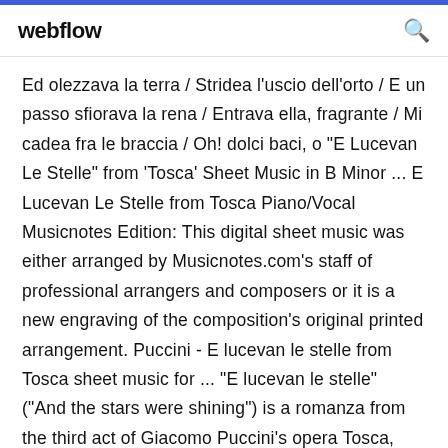webflow
Ed olezzava la terra / Stridea l'uscio dell'orto / E un passo sfiorava la rena / Entrava ella, fragrante / Mi cadea fra le braccia / Oh! dolci baci, o "E Lucevan Le Stelle" from 'Tosca' Sheet Music in B Minor ... E Lucevan Le Stelle from Tosca Piano/Vocal Musicnotes Edition: This digital sheet music was either arranged by Musicnotes.com's staff of professional arrangers and composers or it is a new engraving of the composition's original printed arrangement. Puccini - E lucevan le stelle from Tosca sheet music for ... "E lucevan le stelle" ("And the stars were shining") is a romanza from the third act of Giacomo Puccini's opera Tosca,